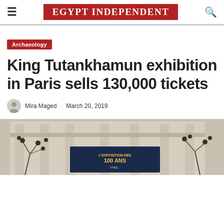EGYPT INDEPENDENT
Archaeology
King Tutankhamun exhibition in Paris sells 130,000 tickets
Mira Maged · March 20, 2019
[Figure (photo): Exterior of a classical stone building with a banner reading 'L'EXPOSITION DES 100 ANS' and decorative round ornaments on bare tree branches in front]